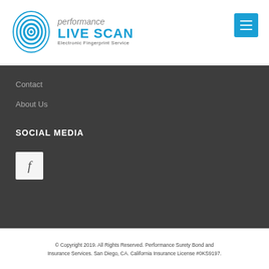[Figure (logo): Performance Live Scan logo with blue fingerprint graphic and text: 'performance LIVE SCAN Electronic Fingerprint Service']
Contact
About Us
SOCIAL MEDIA
[Figure (illustration): Facebook icon — white square with letter f]
© Copyright 2019. All Rights Reserved. Performance Surety Bond and Insurance Services. San Diego, CA. California Insurance License #0KS9197.